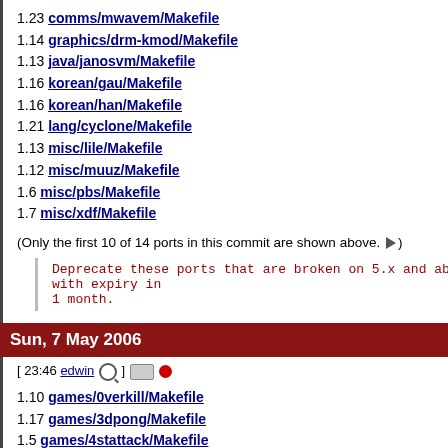1.23 comms/mwavem/Makefile
1.14 graphics/drm-kmod/Makefile
1.13 java/janosvm/Makefile
1.16 korean/gau/Makefile
1.16 korean/han/Makefile
1.21 lang/cyclone/Makefile
1.13 misc/lile/Makefile
1.12 misc/muuz/Makefile
1.6 misc/pbs/Makefile
1.7 misc/xdf/Makefile
(Only the first 10 of 14 ports in this commit are shown above. ►)
Deprecate these ports that are broken on 5.x and above,
with expiry in
1 month.
Sun, 7 May 2006
[ 23:46 edwin ]
1.10 games/0verkill/Makefile
1.17 games/3dpong/Makefile
1.5 games/4stattack/Makefile
1.9 games/54321/Makefile
1.5 games/BillardGL/Makefile